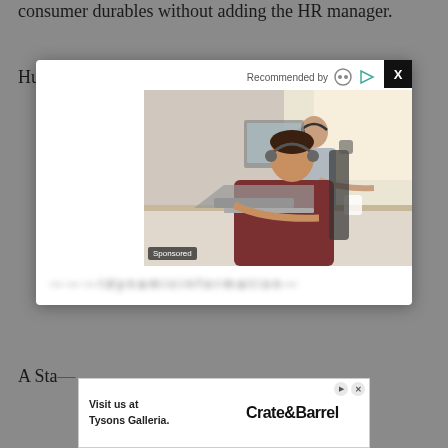consumer durables without adding the HR manager.
Human resources managers plan, organize, and direct
[Figure (photo): Advertisement modal overlay with a photo of two office workers wearing headsets and working at computers. Shows 'Recommended by' header with icons, a 'Sponsored' label on the photo, and partial blurred text below the image.]
— — — l d y n a m i c i n f o r m a t i o n —
[Figure (infographic): Banner advertisement for Crate & Barrel reading 'Visit us at Tysons Galleria.' with Crate&Barrel logo on right side.]
A Sta